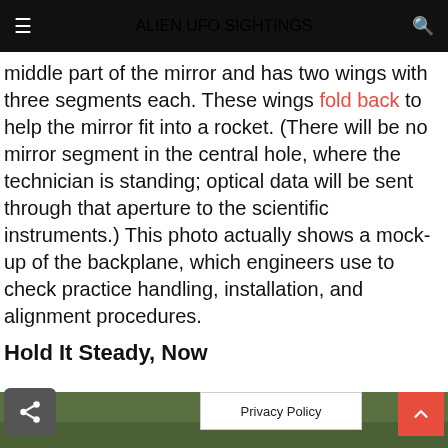ALIEN UFO SIGHTINGS
middle part of the mirror and has two wings with three segments each. These wings fold back to help the mirror fit into a rocket. (There will be no mirror segment in the central hole, where the technician is standing; optical data will be sent through that aperture to the scientific instruments.) This photo actually shows a mock-up of the backplane, which engineers use to check practice handling, installation, and alignment procedures.
Hold It Steady, Now